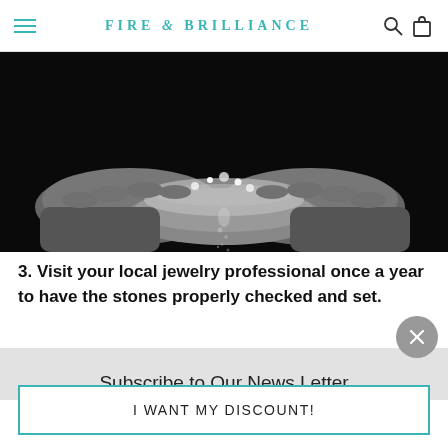FIRE & BRILLIANCE
[Figure (photo): Black and white photo of two hands cupping and pouring sparkling gemstones/diamonds, dark background]
3. Visit your local jewelry professional once a year to have the stones properly checked and set.
Subscribe to Our News Letter
I WANT MY DISCOUNT!